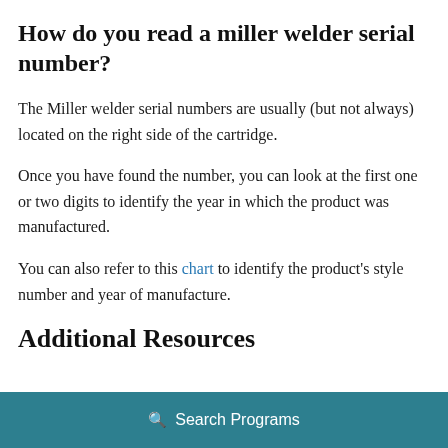How do you read a miller welder serial number?
The Miller welder serial numbers are usually (but not always) located on the right side of the cartridge.
Once you have found the number, you can look at the first one or two digits to identify the year in which the product was manufactured.
You can also refer to this chart to identify the product’s style number and year of manufacture.
Additional Resources
Search Programs